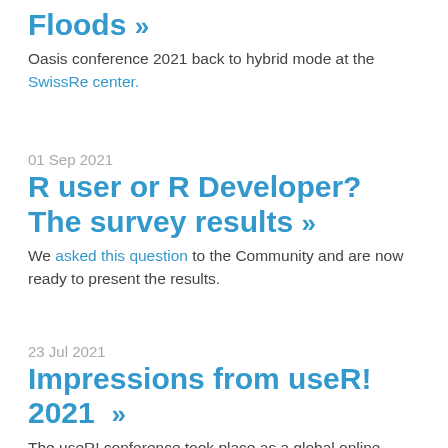Floods »
Oasis conference 2021 back to hybrid mode at the SwissRe center.
01 Sep 2021
R user or R Developer? The survey results »
We asked this question to the Community and are now ready to present the results.
23 Jul 2021
Impressions from useR! 2021 »
The useR! conference took place as a global online conference and we are eager to share some